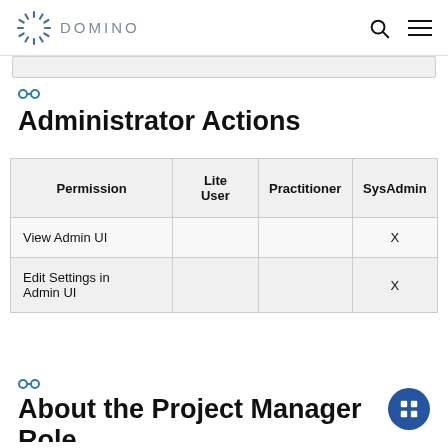DOMINO
Administrator Actions
| Permission | Lite User | Practitioner | SysAdmin |
| --- | --- | --- | --- |
| View Admin UI |  |  | X |
| Edit Settings in Admin UI |  |  | X |
About the Project Manager Role